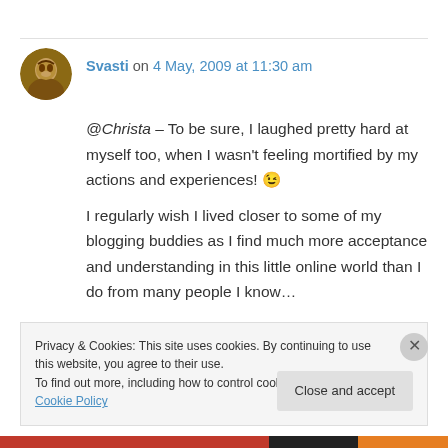[Figure (illustration): Circular avatar photo of user Svasti, showing a person with warm brown tones]
Svasti on 4 May, 2009 at 11:30 am
@Christa – To be sure, I laughed pretty hard at myself too, when I wasn't feeling mortified by my actions and experiences! 😉
I regularly wish I lived closer to some of my blogging buddies as I find much more acceptance and understanding in this little online world than I do from many people I know…
Privacy & Cookies: This site uses cookies. By continuing to use this website, you agree to their use.
To find out more, including how to control cookies, see here: Cookie Policy